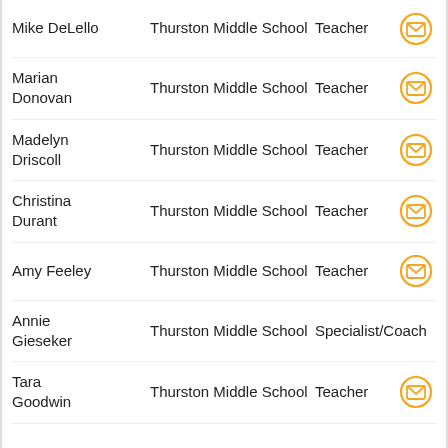| Name | School | Role |  |
| --- | --- | --- | --- |
| Mike DeLello | Thurston Middle School | Teacher | email |
| Marian Donovan | Thurston Middle School | Teacher | email |
| Madelyn Driscoll | Thurston Middle School | Teacher | email |
| Christina Durant | Thurston Middle School | Teacher | email |
| Amy Feeley | Thurston Middle School | Teacher | email |
| Annie Gieseker | Thurston Middle School | Specialist/Coach | email |
| Tara Goodwin | Thurston Middle School | Teacher | email |